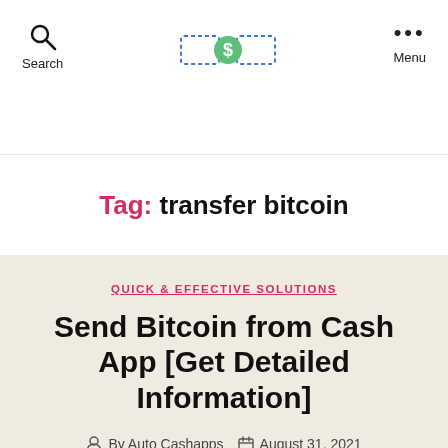Search | [logo] | Menu
Tag: transfer bitcoin
QUICK & EFFECTIVE SOLUTIONS
Send Bitcoin from Cash App [Get Detailed Information]
By Auto Cashapps  August 31, 2021